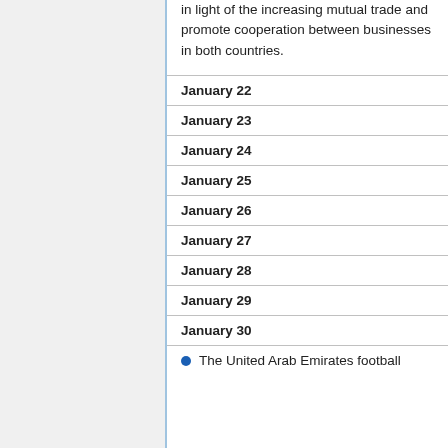in light of the increasing mutual trade and promote cooperation between businesses in both countries.
January 22
January 23
January 24
January 25
January 26
January 27
January 28
January 29
January 30
The United Arab Emirates football